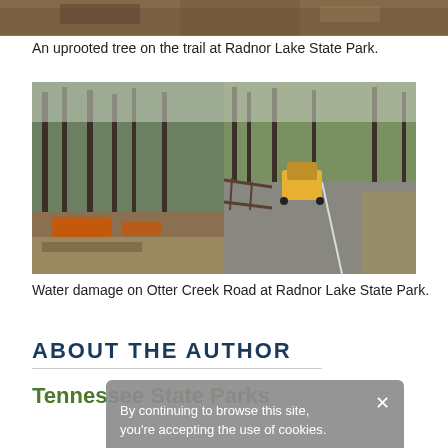[Figure (photo): Top portion of a photo showing an uprooted tree on a trail, showing brown and earthy tones with tree trunks/forest floor visible.]
An uprooted tree on the trail at Radnor Lake State Park.
[Figure (photo): Water damage on Otter Creek Road at Radnor Lake State Park. Left side shows debris, orange safety equipment and damage near a wooded area. Right side shows a vehicle on a wet road with water flooding the roadside.]
Water damage on Otter Creek Road at Radnor Lake State Park.
ABOUT THE AUTHOR
Tennessee State Parks
By continuing to browse this site, you're accepting the use of cookies.